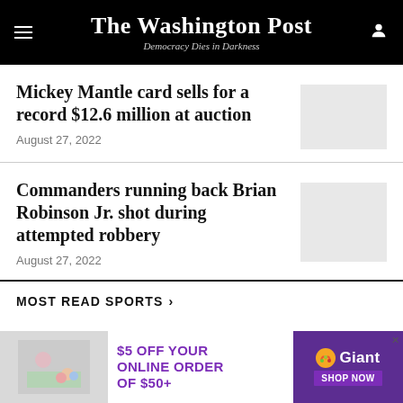The Washington Post — Democracy Dies in Darkness
Mickey Mantle card sells for a record $12.6 million at auction
August 27, 2022
Commanders running back Brian Robinson Jr. shot during attempted robbery
August 27, 2022
MOST READ SPORTS
[Figure (other): Advertisement: $5 OFF YOUR ONLINE ORDER OF $50+ — Giant food store ad with shop now button]